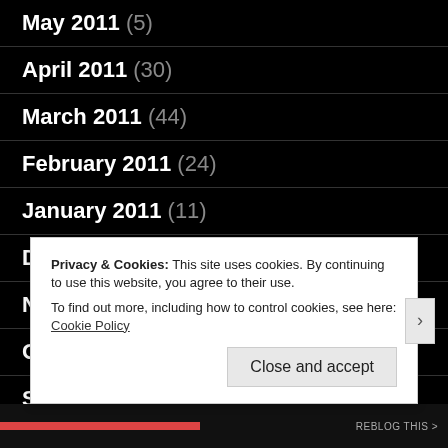May 2011 (5)
April 2011 (30)
March 2011 (44)
February 2011 (24)
January 2011 (11)
December 2010 (22)
November 2010 (6)
October 2010 (4)
September 2010 (8)
Privacy & Cookies: This site uses cookies. By continuing to use this website, you agree to their use.
To find out more, including how to control cookies, see here: Cookie Policy
Close and accept